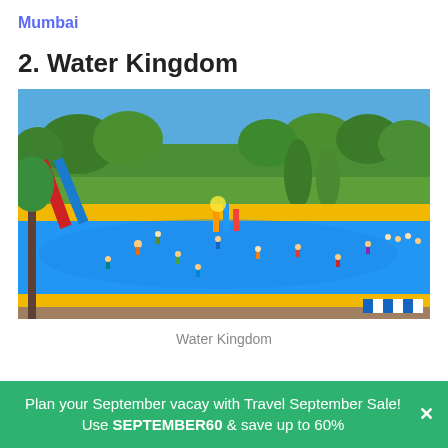Mumbai
2. Water Kingdom
[Figure (photo): Aerial view of Water Kingdom water park showing blue splash pad area with many visitors, surrounded by trees and yellow/orange pool borders on a sunny day.]
Water Kingdom
Plan your September vacay with Travel September Sale! Use SEPTEMBER60 & save up to 60%